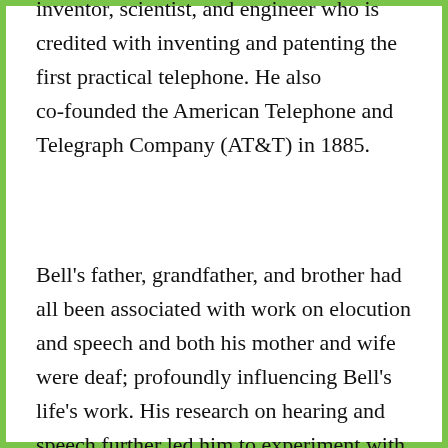inventor, scientist, and engineer who is credited with inventing and patenting the first practical telephone. He also co-founded the American Telephone and Telegraph Company (AT&T) in 1885.
Bell's father, grandfather, and brother had all been associated with work on elocution and speech and both his mother and wife were deaf; profoundly influencing Bell's life's work. His research on hearing and speech further led him to experiment with hearing devices which eventually culminated in Bell being awarded the first U.S. patent for the telephone.